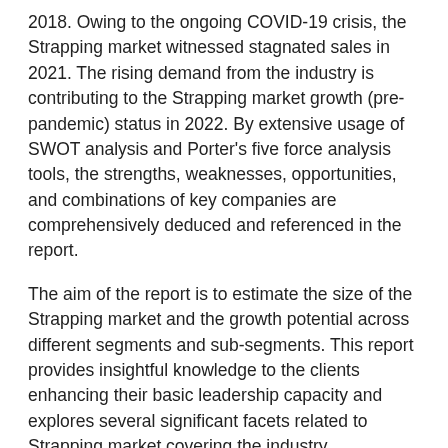2018. Owing to the ongoing COVID-19 crisis, the Strapping market witnessed stagnated sales in 2021. The rising demand from the industry is contributing to the Strapping market growth (pre-pandemic) status in 2022. By extensive usage of SWOT analysis and Porter's five force analysis tools, the strengths, weaknesses, opportunities, and combinations of key companies are comprehensively deduced and referenced in the report.
The aim of the report is to estimate the size of the Strapping market and the growth potential across different segments and sub-segments. This report provides insightful knowledge to the clients enhancing their basic leadership capacity and explores several significant facets related to Strapping market covering the industry environment, segmentation analysis, and competitive landscape. Business strategies of the key players and the new entering market industries are studied in detail. This research report will give a clear idea to readers about the overall scenario to further decide on this market project.